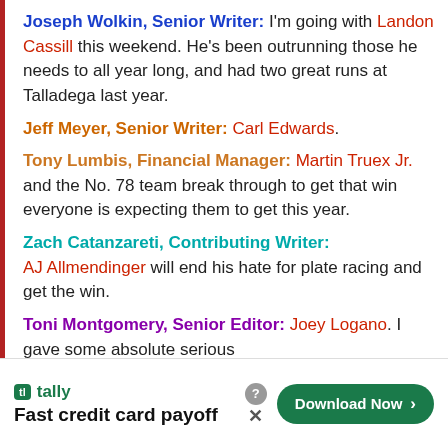Joseph Wolkin, Senior Writer: I'm going with Landon Cassill this weekend. He's been outrunning those he needs to all year long, and had two great runs at Talladega last year.
Jeff Meyer, Senior Writer: Carl Edwards.
Tony Lumbis, Financial Manager: Martin Truex Jr. and the No. 78 team break through to get that win everyone is expecting them to get this year.
Zach Catanzareti, Contributing Writer: AJ Allmendinger will end his hate for plate racing and get the win.
Toni Montgomery, Senior Editor: Joey Logano. I gave some absolute serious
[Figure (screenshot): Advertisement banner for Tally app - Fast credit card payoff with Download Now button]